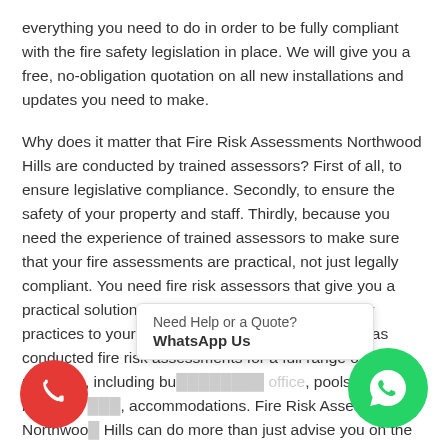everything you need to do in order to be fully compliant with the fire safety legislation in place. We will give you a free, no-obligation quotation on all new installations and updates you need to make.
Why does it matter that Fire Risk Assessments Northwood Hills are conducted by trained assessors? First of all, to ensure legislative compliance. Secondly, to ensure the safety of your property and staff. Thirdly, because you need the experience of trained assessors to make sure that your fire assessments are practical, not just legally compliant. You need fire risk assessors that give you a practical solution that allows you to apply fire safety practices to your specific business. Our company has conducted fire risk assessments for a full range of premises, including bu... offices, pools, new buildings ..., accommodations. Fire Risk Assessments Northwood Hills can do more than just advise you on the
Need Help or a Quote?
WhatsApp Us